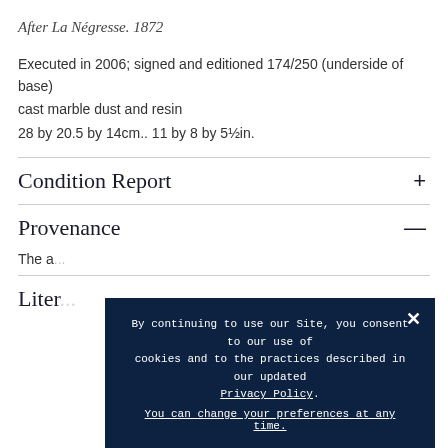After La Négresse. 1872
Executed in 2006; signed and editioned 174/250 (underside of base)
cast marble dust and resin
28 by 20.5 by 14cm.. 11 by 8 by 5½in.
Condition Report
Provenance
The a...
Liter...
By continuing to use our Site, you consent to our use of cookies and to the practices described in our updated Privacy Policy. You can change your preferences at any time.